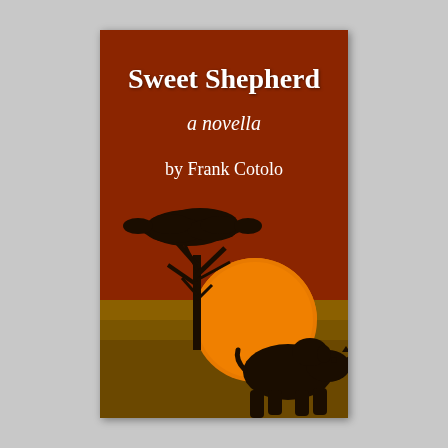[Figure (illustration): Book cover for 'Sweet Shepherd, a novella by Frank Cotolo'. Brown/rust colored background with an African sunset scene: silhouette of an acacia tree on the left, large orange sun setting in the center-lower area, and a rhinoceros silhouette walking right in the foreground lower right. Title and author text at top.]
Sweet Shepherd
a novella
by Frank Cotolo